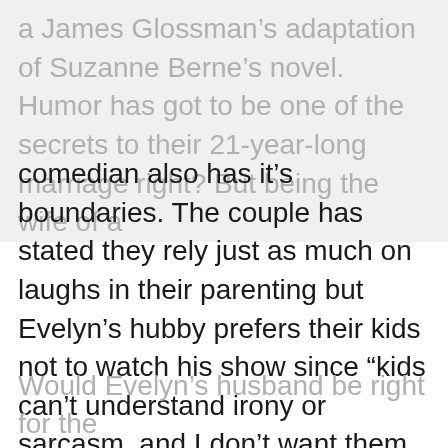a James Glossman's adaptation of Suzanne Berne's novel. Humor has got to be one of the secrets to their 21-year-long marriage right? But being the wife of a
comedian also has it’s boundaries. The couple has stated they rely just as much on laughs in their parenting but Evelyn’s hubby prefers their kids not to watch his show since “kids can’t understand irony or sarcasm, and I don’t want them to perceive me as insincere.” McGee Colbert resides in Montclair, New Jersey with her family. So what do you think of her hubby’s new gig?
Would Evelyn’s husband be right for the